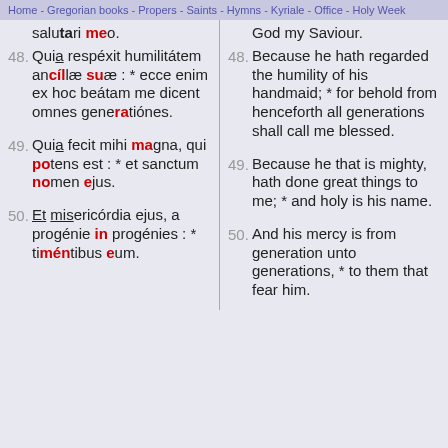Home - Gregorian books - Propers - Saints - Hymns - Kyriale - Office - Holy Week
salutari meo.
God my Saviour.
48. Quia respéxit humilitátem ancíllæ suæ : * ecce enim ex hoc beátam me dicent omnes generatiónes.
48. Because he hath regarded the humility of his handmaid; * for behold from henceforth all generations shall call me blessed.
49. Quia fecit mihi magna, qui potens est : * et sanctum nomen ejus.
49. Because he that is mighty, hath done great things to me; * and holy is his name.
50. Et misericórdia ejus, a progénie in progénies : * timéntibus eum.
50. And his mercy is from generation unto generations, * to them that fear him.